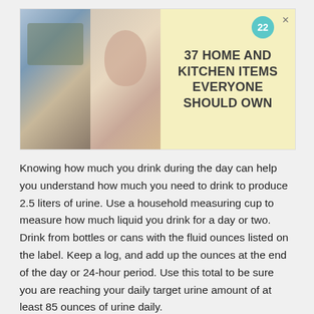[Figure (other): Advertisement banner with yellow background showing kitchen/food images on the left and bold text '37 HOME AND KITCHEN ITEMS EVERYONE SHOULD OWN' on the right, with a teal badge showing '22' and an X close button.]
Knowing how much you drink during the day can help you understand how much you need to drink to produce 2.5 liters of urine. Use a household measuring cup to measure how much liquid you drink for a day or two. Drink from bottles or cans with the fluid ounces listed on the label. Keep a log, and add up the ounces at the end of the day or 24-hour period. Use this total to be sure you are reaching your daily target urine amount of at least 85 ounces of urine daily.